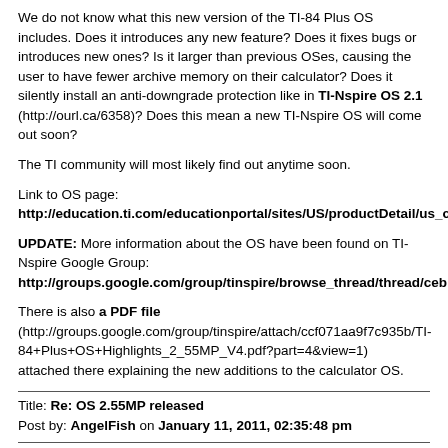We do not know what this new version of the TI-84 Plus OS includes. Does it introduces any new feature? Does it fixes bugs or introduces new ones? Is it larger than previous OSes, causing the user to have fewer archive memory on their calculator? Does it silently install an anti-downgrade protection like in TI-Nspire OS 2.1 (http://ourl.ca/6358)? Does this mean a new TI-Nspire OS will come out soon?
The TI community will most likely find out anytime soon.
Link to OS page:
http://education.ti.com/educationportal/sites/US/productDetail/us_c
UPDATE: More information about the OS have been found on TI-Nspire Google Group:
http://groups.google.com/group/tinspire/browse_thread/thread/ceb
There is also a PDF file (http://groups.google.com/group/tinspire/attach/ccf071aa9f7c935b/TI-84+Plus+OS+Highlights_2_55MP_V4.pdf?part=4&view=1) attached there explaining the new additions to the calculator OS.
Title: Re: OS 2.55MP released
Post by: AngelFish on January 11, 2011, 02:35:48 pm
It's not much different from 2.53, as far as I can tell from a cursory glance. It does include at least two new commands, STATWIZARD ON and STATWIZARD OFF. I can't figure out